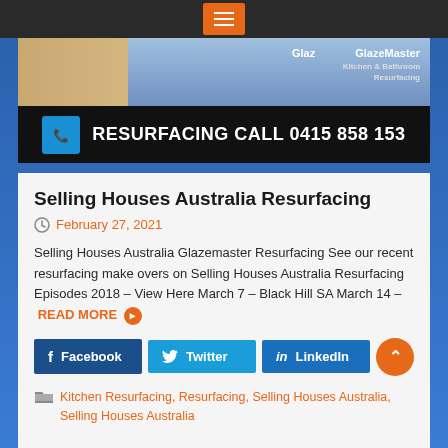[Figure (photo): GlazeMaster Resurfacing van and kitchen banner with phone number 0415 858 153]
Selling Houses Australia Resurfacing
February 27, 2021
Selling Houses Australia Glazemaster Resurfacing See our recent resurfacing make overs on Selling Houses Australia Resurfacing Episodes 2018 – View Here March 7 – Black Hill SA March 14 – READ MORE
Facebook  Twitter  LinkedIn
Kitchen Resurfacing, Resurfacing, Selling Houses Australia, Selling Houses Australia